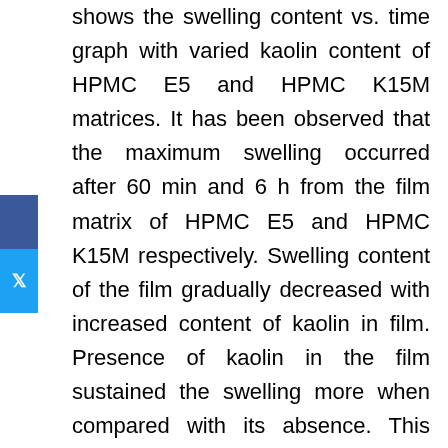shows the swelling content vs. time graph with varied kaolin content of HPMC E5 and HPMC K15M matrices. It has been observed that the maximum swelling occurred after 60 min and 6 h from the film matrix of HPMC E5 and HPMC K15M respectively. Swelling content of the film gradually decreased with increased content of kaolin in film. Presence of kaolin in the film sustained the swelling more when compared with its absence. This result indicated that the kaolin has the ability to improve the water resistance of the film matrix. Swelling was driven by water uptake, which depends upon the hydrophilicity and also morphology as macro voids, free volume, and crystal size. Kaolin caused the production of tortuous pathway and also formation of denser cross-